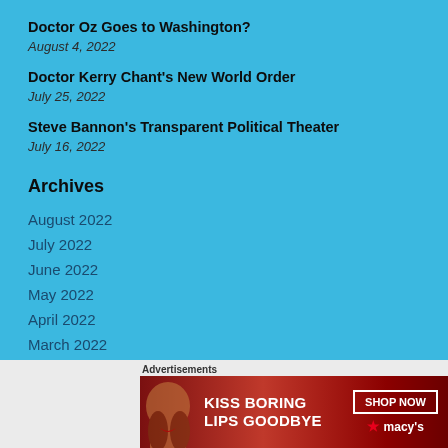Doctor Oz Goes to Washington?
August 4, 2022
Doctor Kerry Chant's New World Order
July 25, 2022
Steve Bannon's Transparent Political Theater
July 16, 2022
Archives
August 2022
July 2022
June 2022
May 2022
April 2022
March 2022
Advertisements
[Figure (photo): Macy's advertisement banner: dark red background with woman's face/lips. Text reads 'KISS BORING LIPS GOODBYE' with 'SHOP NOW' button and Macy's star logo.]